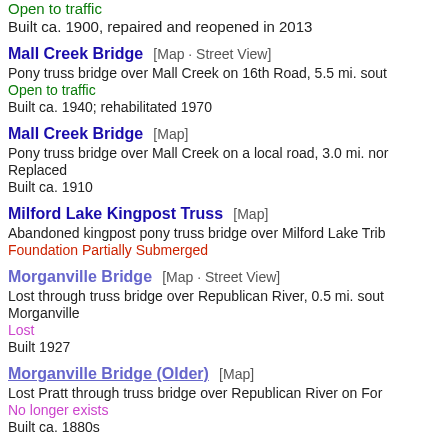Open to traffic
Built ca. 1900, repaired and reopened in 2013
Mall Creek Bridge   [Map · Street View]
Pony truss bridge over Mall Creek on 16th Road, 5.5 mi. sou...
Open to traffic
Built ca. 1940; rehabilitated 1970
Mall Creek Bridge   [Map]
Pony truss bridge over Mall Creek on a local road, 3.0 mi. nor...
Replaced
Built ca. 1910
Milford Lake Kingpost Truss   [Map]
Abandoned kingpost pony truss bridge over Milford Lake Trib...
Foundation Partially Submerged
Morganville Bridge   [Map · Street View]
Lost through truss bridge over Republican River, 0.5 mi. sout... Morganville
Lost
Built 1927
Morganville Bridge (Older)   [Map]
Lost Pratt through truss bridge over Republican River on For...
No longer exists
Built ca. 1880s...